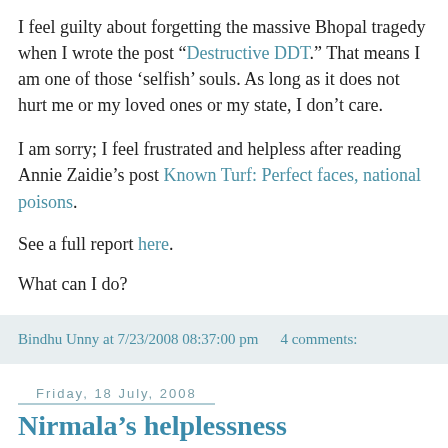I feel guilty about forgetting the massive Bhopal tragedy when I wrote the post “Destructive DDT.” That means I am one of those ‘selfish’ souls. As long as it does not hurt me or my loved ones or my state, I don’t care.
I am sorry; I feel frustrated and helpless after reading Annie Zaidie’s post Known Turf: Perfect faces, national poisons.
See a full report here.
What can I do?
Bindhu Unny at 7/23/2008 08:37:00 pm    4 comments:
Friday, 18 July, 2008
Nirmala’s helplessness
Like so many others, Nirmala came to Mumbai for a better life. She’s from a village in Nepal. When I was looking for a maid, my neighbour introduced her to me. She’s our building watchman’s